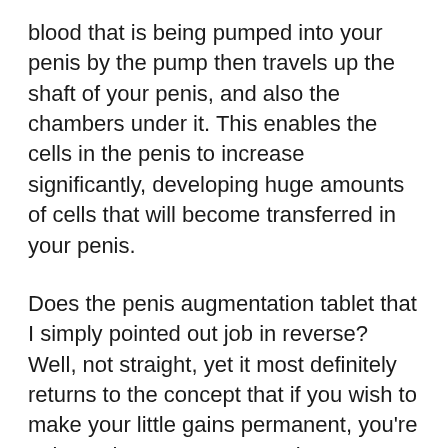blood that is being pumped into your penis by the pump then travels up the shaft of your penis, and also the chambers under it. This enables the cells in the penis to increase significantly, developing huge amounts of cells that will become transferred in your penis.
Does the penis augmentation tablet that I simply pointed out job in reverse? Well, not straight, yet it most definitely returns to the concept that if you wish to make your little gains permanent, you're going to have to operate at it. You see, the added blood that is being pumped right into your penis throughout the penis pump session will at some point enter your bloodstream. This benefits increasing your flow as well as